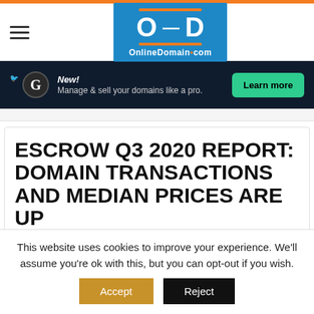[Figure (logo): OnlineDomain.com logo — blue square with OD letters and orange accent lines]
[Figure (infographic): Dark navy ad banner with Godaddy-style icon, text: New! Manage & sell your domains like a pro. Learn more button in teal.]
ESCROW Q3 2020 REPORT: DOMAIN TRANSACTIONS AND MEDIAN PRICES ARE UP
This website uses cookies to improve your experience. We'll assume you're ok with this, but you can opt-out if you wish.